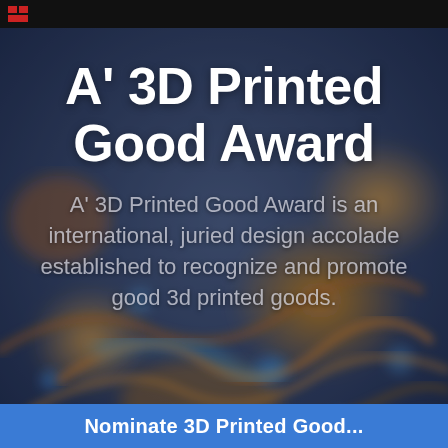[Figure (photo): Blurred bokeh background photograph showing 3D printed metallic/copper wire-like structures with warm orange tones and blue bokeh dots on a dark blue background]
A' 3D Printed Good Award
A' 3D Printed Good Award is an international, juried design accolade established to recognize and promote good 3d printed goods.
Nominate 3D Printed Good...